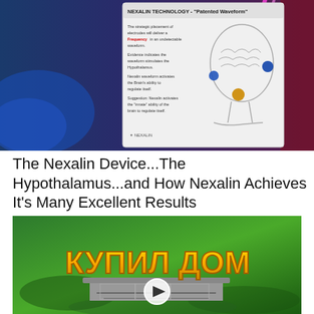[Figure (screenshot): Screenshot of a Nexalin Technology 'Patented Waveform' slide showing a diagram of a human head/brain with electrodes placed, and text describing frequency delivery, hypothalamus stimulation, and brain regulation. Dark blue and pink background with the slide in the center.]
The Nexalin Device...The Hypothalamus...and How Nexalin Achieves It's Many Excellent Results
[Figure (screenshot): Video thumbnail showing Cyrillic text 'КУПИЛ ДОМ' (Bought a House) in large yellow 3D letters on a green background with a house model and a play button overlay.]